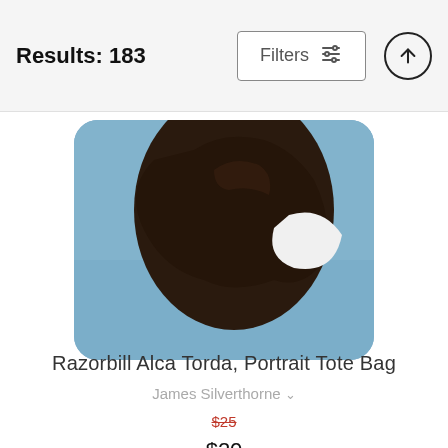Results: 183  Filters
[Figure (photo): Close-up photo of a Razorbill bird (dark brown/black with white markings) against a blue sky background, shown in a rounded-corner card]
Razorbill Alca Torda, Portrait Tote Bag
James Silverthorne
$25  $20
[Figure (photo): Partial view of a black tote bag showing the handles from above, visible at the bottom of the screen]